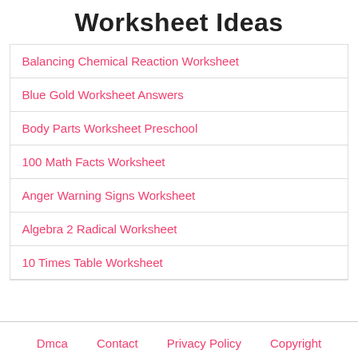Worksheet Ideas
Balancing Chemical Reaction Worksheet
Blue Gold Worksheet Answers
Body Parts Worksheet Preschool
100 Math Facts Worksheet
Anger Warning Signs Worksheet
Algebra 2 Radical Worksheet
10 Times Table Worksheet
Dmca   Contact   Privacy Policy   Copyright